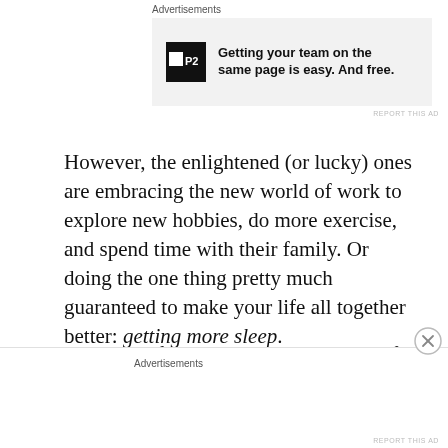Advertisements
[Figure (other): Advertisement banner for P2: 'Getting your team on the same page is easy. And free.']
REPORT THIS AD
However, the enlightened (or lucky) ones are embracing the new world of work to explore new hobbies, do more exercise, and spend time with their family. Or doing the one thing pretty much guaranteed to make your life all together better: getting more sleep.
So, some of us are thriving and some of us flailing. The irony is that the ones flailing appear to be those with the power to change
Advertisements
REPORT THIS AD